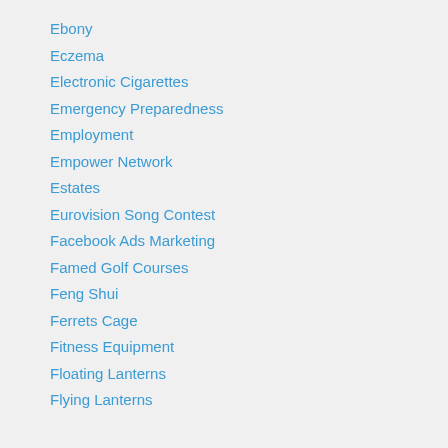Ebony
Eczema
Electronic Cigarettes
Emergency Preparedness
Employment
Empower Network
Estates
Eurovision Song Contest
Facebook Ads Marketing
Famed Golf Courses
Feng Shui
Ferrets Cage
Fitness Equipment
Floating Lanterns
Flying Lanterns